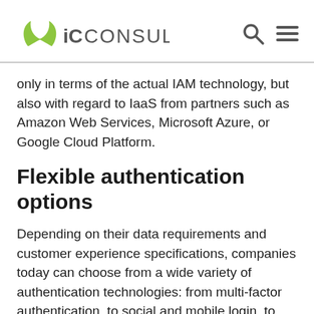iC CONSULT
only in terms of the actual IAM technology, but also with regard to IaaS from partners such as Amazon Web Services, Microsoft Azure, or Google Cloud Platform.
Flexible authentication options
Depending on their data requirements and customer experience specifications, companies today can choose from a wide variety of authentication technologies: from multi-factor authentication, to social and mobile login, to single sign-on or passwordless logins with integrated self-services. Your partner should be able to provide you with comprehensive advice on the various approaches